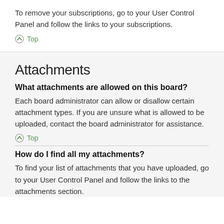To remove your subscriptions, go to your User Control Panel and follow the links to your subscriptions.
Top
Attachments
What attachments are allowed on this board?
Each board administrator can allow or disallow certain attachment types. If you are unsure what is allowed to be uploaded, contact the board administrator for assistance.
Top
How do I find all my attachments?
To find your list of attachments that you have uploaded, go to your User Control Panel and follow the links to the attachments section.